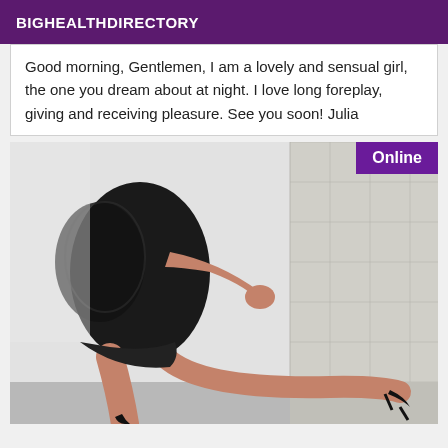BIGHEALTHDIRECTORY
Good morning, Gentlemen, I am a lovely and sensual girl, the one you dream about at night. I love long foreplay, giving and receiving pleasure. See you soon! Julia
[Figure (photo): Woman in black lace dress and high heels leaning against a tiled wall, with an 'Online' badge in the top right corner]